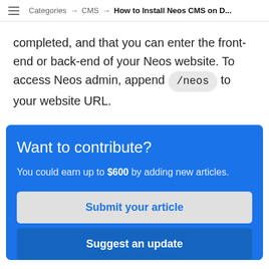Categories → CMS → How to Install Neos CMS on D...
completed, and that you can enter the front-end or back-end of your Neos website. To access Neos admin, append /neos to your website URL.
Want to contribute?
You could earn up to $600 by adding new articles.
Submit your article
Suggest an update